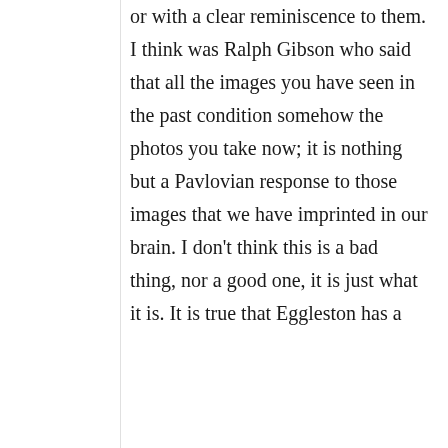or with a clear reminiscence to them. I think was Ralph Gibson who said that all the images you have seen in the past condition somehow the photos you take now; it is nothing but a Pavlovian response to those images that we have imprinted in our brain. I don't think this is a bad thing, nor a good one, it is just what it is. It is true that Eggleston has a